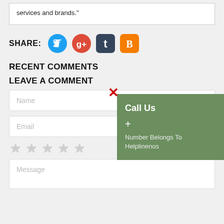services and brands."
SHARE:
[Figure (illustration): Social share icons: Twitter (blue circle), Google+ (red circle), Tumblr (dark rounded square), Blogger (orange rounded square)]
RECENT COMMENTS
[Figure (infographic): Popup overlay with green background, red X close button, 'Call Us' heading, '+' symbol, and text 'Number Belongs To Helplinenos']
LEAVE A COMMENT
Name
Email
[Figure (illustration): Five grey star rating icons]
Message